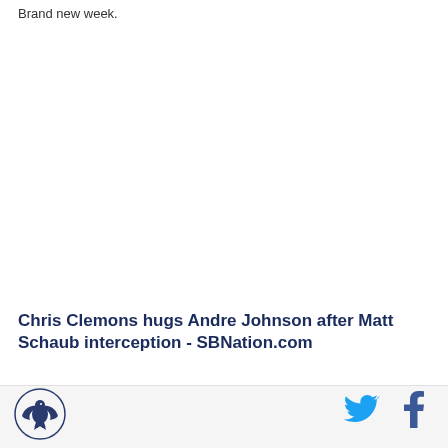Brand new week.
Chris Clemons hugs Andre Johnson after Matt Schaub interception - SBNation.com
Seattle's defense end sure was happy about his team
[Figure (logo): SBNation sports website logo - bird/hawk emblem in dark blue]
[Figure (logo): Twitter bird icon in cyan blue]
[Figure (logo): Facebook f icon in dark blue]